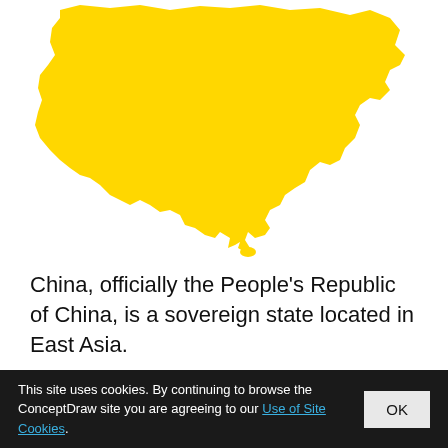[Figure (map): Yellow silhouette map of China on white background]
China, officially the People's Republic of China, is a sovereign state located in East Asia.
This site uses cookies. By continuing to browse the ConceptDraw site you are agreeing to our Use of Site Cookies.